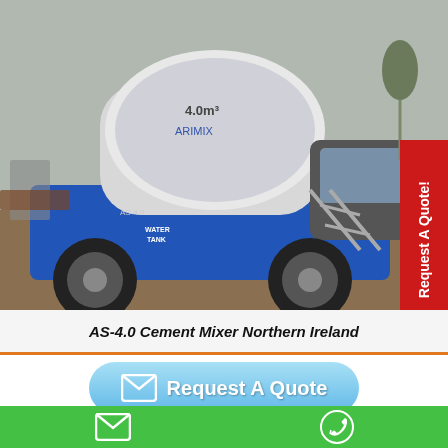[Figure (photo): AS-4.0 self-loading cement mixer truck, blue body, on a construction site. The drum is labeled 4.0m³. Brand name visible on drum. Text 'WATER TANK' on side.]
AS-4.0 Cement Mixer Northern Ireland
[Figure (infographic): Blue gradient rounded rectangle button with envelope/mail icon and text 'Request A Quote']
Drum concrete mixer for sale is the ordinary concrete mixer. With drum rotating, it can realize concrete mixing and concrete discharging. In general, it has small capacity, mainly for small construction projects.
Email icon | WhatsApp icon